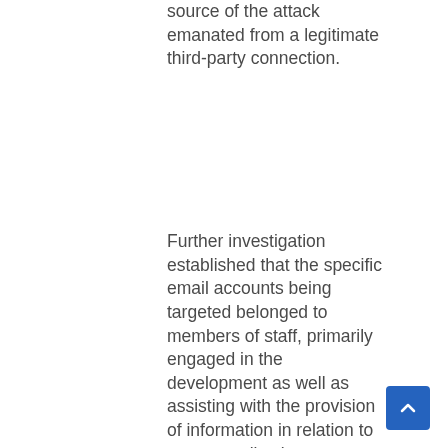source of the attack emanated from a legitimate third-party connection.
Further investigation established that the specific email accounts being targeted belonged to members of staff, primarily engaged in the development as well as assisting with the provision of information in relation to patent applications.